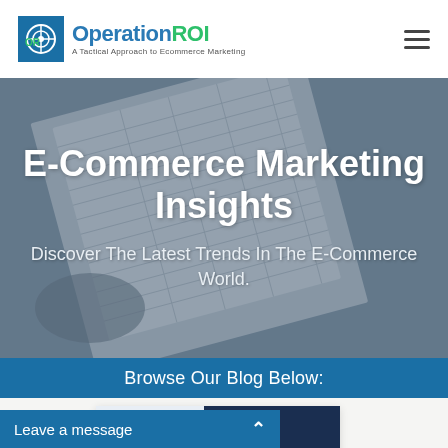[Figure (logo): OperationROI logo with globe/target icon and tagline 'A Tactical Approach to Ecommerce Marketing']
[Figure (illustration): Hamburger menu icon (three horizontal lines) in header top right]
[Figure (photo): Hero background photo of financial spreadsheet/data being reviewed, with dark overlay]
E-Commerce Marketing Insights
Discover The Latest Trends In The E-Commerce World.
Browse Our Blog Below:
[Figure (screenshot): Blog post card preview showing Amazon Elevates blog post with OperationROI logo, icons of globe, chat bubble, trophy, and person]
Leave a message